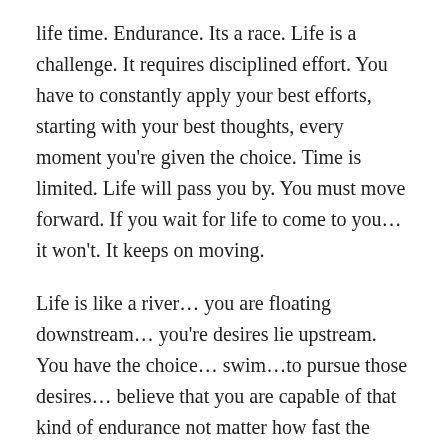life time. Endurance. Its a race. Life is a challenge. It requires disciplined effort. You have to constantly apply your best efforts, starting with your best thoughts, every moment you're given the choice. Time is limited. Life will pass you by. You must move forward. If you wait for life to come to you… it won't. It keeps on moving.
Life is like a river… you are floating downstream… you're desires lie upstream. You have the choice… swim…to pursue those desires… believe that you are capable of that kind of endurance not matter how fast the river is moving and churning and your muscles are burning.. OR… you can float on your back… take the easy route… yea… maybe your happy… in those brief moments when you don't think about everything your missing out on… your deepest desires remaining unfulfilled…you lower your expectations and except the